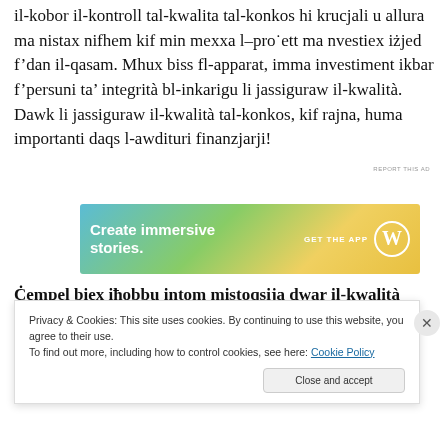il-kobor il-kontroll tal-kwalita tal-konkos hi krucjali u allura ma nistax nifhem kif min mexxa l–progett ma nvestiex izjed f'dan il-qasam. Mhux biss fl-apparat, imma investiment ikbar f'persuni ta' integrita bl-inkarigu li jassiguraw il-kwalita. Dawk li jassiguraw il-kwalita tal-konkos, kif rajna, huma importanti daqs l-awdituri finanzjarji!
[Figure (other): WordPress 'Create immersive stories. GET THE APP' advertisement banner with gradient background (blue to green to yellow)]
Ċempel biex iħobbu intom mistoqsija dwar il-kwalità
Privacy & Cookies: This site uses cookies. By continuing to use this website, you agree to their use.
To find out more, including how to control cookies, see here: Cookie Policy